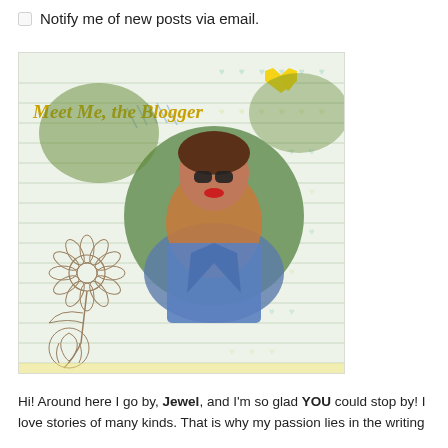Notify me of new posts via email.
[Figure (illustration): Decorative blog banner with horizontal lined background, small heart pattern, cursive script text 'Meet Me, the Blogger', a yellow heart shape, a circular photo of a young woman wearing sunglasses and a denim jacket, a sunflower sketch on the left, and blue diagonal decorative lines.]
Hi! Around here I go by, Jewel, and I'm so glad YOU could stop by! I love stories of many kinds. That is why my passion lies in the writing